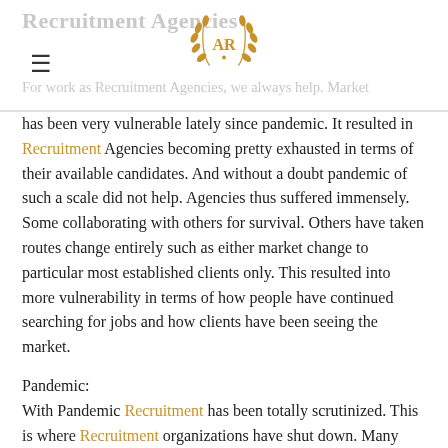Recruitment Agencies
[Figure (logo): AR laurel wreath logo in gold]
For work as Recruitment Agencies, we always help. Market has been very vulnerable lately since pandemic. It resulted in Recruitment Agencies becoming pretty exhausted in terms of their available candidates. And without a doubt pandemic of such a scale did not help. Agencies thus suffered immensely. Some collaborating with others for survival. Others have taken routes change entirely such as either market change to particular most established clients only. This resulted into more vulnerability in terms of how people have continued searching for jobs and how clients have been seeing the market.
Pandemic:
With Pandemic Recruitment has been totally scrutinized. This is where Recruitment organizations have shut down. Many agencies went down due to continuous effort in trying